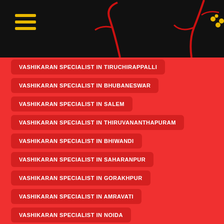VASHIKARAN SPECIALIST IN TIRUCHIRAPPALLI
VASHIKARAN SPECIALIST IN BHUBANESWAR
VASHIKARAN SPECIALIST IN SALEM
VASHIKARAN SPECIALIST IN THIRUVANANTHAPURAM
VASHIKARAN SPECIALIST IN BHIWANDI
VASHIKARAN SPECIALIST IN SAHARANPUR
VASHIKARAN SPECIALIST IN GORAKHPUR
VASHIKARAN SPECIALIST IN AMRAVATI
VASHIKARAN SPECIALIST IN NOIDA